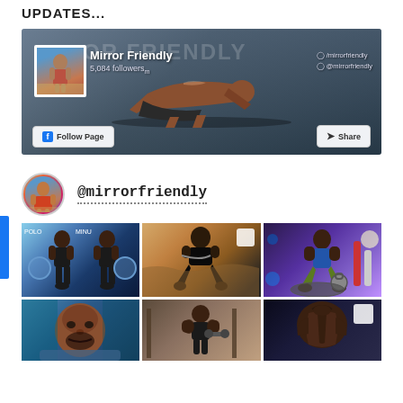UPDATES...
[Figure (screenshot): Facebook page banner for Mirror Friendly showing 5,084 followers, an athlete doing a push-up, Follow Page and Share buttons, with social links /mirrorfriendly and @mirrorfriendly]
[Figure (screenshot): Instagram profile section showing @mirrorfriendly handle with circular avatar, followed by a 3-column grid of fitness workout photos]